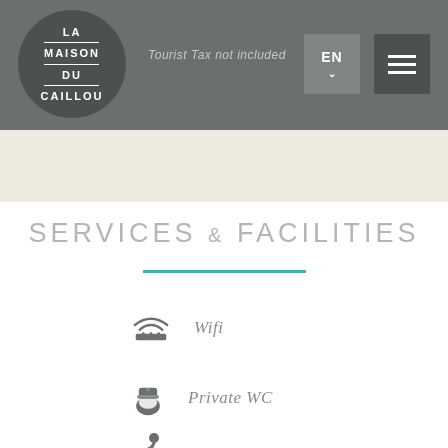LA MAISON DU CAILLOU — Tourist Tax not included — EN
SERVICES & FACILITIES
Wifi
Private WC
Sports room